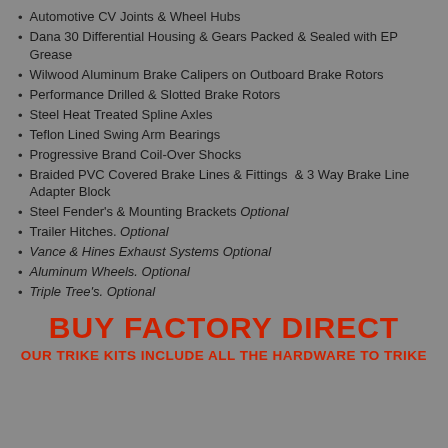Automotive CV Joints & Wheel Hubs
Dana 30 Differential Housing & Gears Packed & Sealed with EP Grease
Wilwood Aluminum Brake Calipers on Outboard Brake Rotors
Performance Drilled & Slotted Brake Rotors
Steel Heat Treated Spline Axles
Teflon Lined Swing Arm Bearings
Progressive Brand Coil-Over Shocks
Braided PVC Covered Brake Lines & Fittings  & 3 Way Brake Line Adapter Block
Steel Fender's & Mounting Brackets Optional
Trailer Hitches. Optional
Vance & Hines Exhaust Systems Optional
Aluminum Wheels. Optional
Triple Tree's. Optional
BUY FACTORY DIRECT
OUR TRIKE KITS INCLUDE ALL THE HARDWARE TO TRIKE